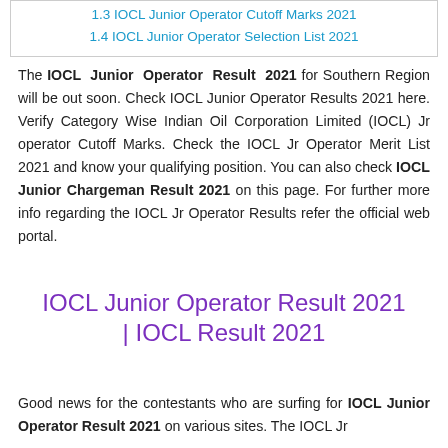1.3 IOCL Junior Operator Cutoff Marks 2021
1.4 IOCL Junior Operator Selection List 2021
The IOCL Junior Operator Result 2021 for Southern Region will be out soon. Check IOCL Junior Operator Results 2021 here. Verify Category Wise Indian Oil Corporation Limited (IOCL) Jr operator Cutoff Marks. Check the IOCL Jr Operator Merit List 2021 and know your qualifying position. You can also check IOCL Junior Chargeman Result 2021 on this page. For further more info regarding the IOCL Jr Operator Results refer the official web portal.
IOCL Junior Operator Result 2021 | IOCL Result 2021
Good news for the contestants who are surfing for IOCL Junior Operator Result 2021 on various sites. The IOCL Jr